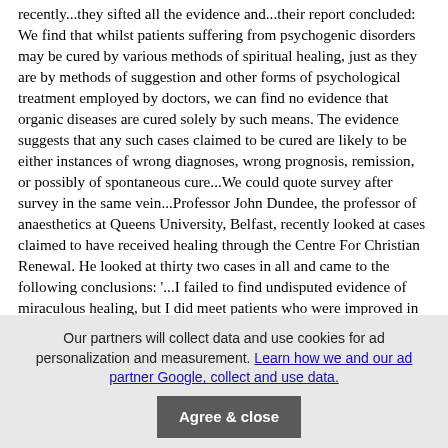recently...they sifted all the evidence and...their report concluded: We find that whilst patients suffering from psychogenic disorders may be cured by various methods of spiritual healing, just as they are by methods of suggestion and other forms of psychological treatment employed by doctors, we can find no evidence that organic diseases are cured solely by such means. The evidence suggests that any such cases claimed to be cured are likely to be either instances of wrong diagnoses, wrong prognosis, remission, or possibly of spontaneous cure...We could quote survey after survey in the same vein...Professor John Dundee, the professor of anaesthetics at Queens University, Belfast, recently looked at cases claimed to have received healing through the Centre For Christian Renewal. He looked at thirty two cases in all and came to the following conclusions: '...I failed to find undisputed evidence of miraculous healing, but I did meet patients who were improved in the mind and the spirit...Duncan Leighton wrote an article entitled, 'Signs One wonders', in which he tells of his own investigations...'In Africa in 1984, I followed the Derek Prince team through Zambia
Our partners will collect data and use cookies for ad personalization and measurement. Learn how we and our ad partner Google, collect and use data.
Agree & close